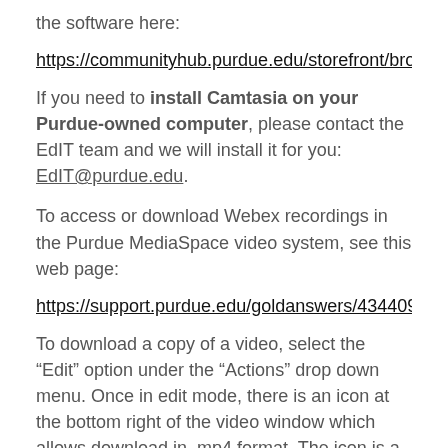the software here:
https://communityhub.purdue.edu/storefront/brows
If you need to install Camtasia on your Purdue-owned computer, please contact the EdIT team and we will install it for you:  EdIT@purdue.edu.
To access or download Webex recordings in the Purdue MediaSpace video system, see this web page:
https://support.purdue.edu/goldanswers/434409
To download a copy of a video, select the “Edit” option under the “Actions” drop down menu. Once in edit mode, there is an icon at the bottom right of the video window which allows download in .mp4 format. The icon is a folder